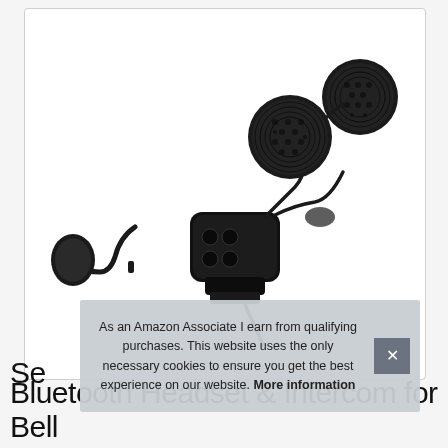[Figure (photo): A motorcycle helmet Bluetooth headset and intercom device shown against white background. The black device has a main unit with buttons, a flexible microphone arm on the left with a foam-covered microphone tip, and two round flat speakers connected by wires on the right.]
As an Amazon Associate I earn from qualifying purchases. This website uses the only necessary cookies to ensure you get the best experience on our website. More information
Se
Bluetooth Headset & Intercom for Bell